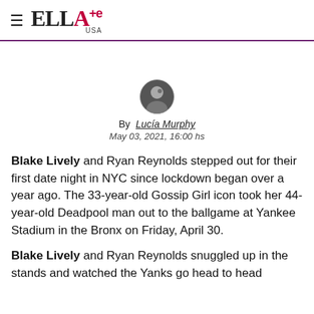ELLE+e USA
By Lucía Murphy
May 03, 2021, 16:00 hs
Blake Lively and Ryan Reynolds stepped out for their first date night in NYC since lockdown began over a year ago. The 33-year-old Gossip Girl icon took her 44-year-old Deadpool man out to the ballgame at Yankee Stadium in the Bronx on Friday, April 30.
Blake Lively and Ryan Reynolds snuggled up in the stands and watched the Yanks go head to head